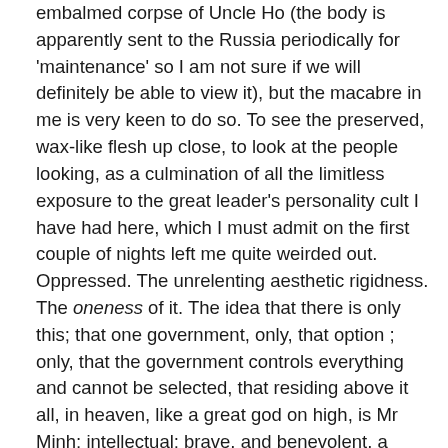embalmed corpse of Uncle Ho (the body is apparently sent to the Russia periodically for 'maintenance' so I am not sure if we will definitely be able to view it), but the macabre in me is very keen to do so. To see the preserved, wax-like flesh up close, to look at the people looking, as a culmination of all the limitless exposure to the great leader's personality cult I have had here, which I must admit on the first couple of nights left me quite weirded out. Oppressed. The unrelenting aesthetic rigidness. The oneness of it. The idea that there is only this; that one government, only, that option ; only, that the government controls everything and cannot be selected, that residing above it all, in heaven, like a great god on high, is Mr Minh; intellectual; brave, and benevolent, a revolutionary who succeeding in uniting the country and is worshipped like a deity.